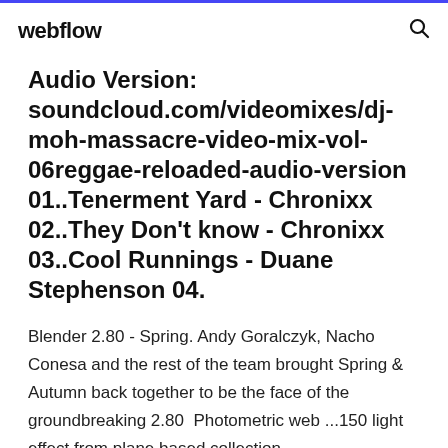webflow
Audio Version: soundcloud.com/videomixes/dj-moh-massacre-video-mix-vol-06reggae-reloaded-audio-version 01..Tenerment Yard - Chronixx 02..They Don't know - Chronixx 03..Cool Runnings - Duane Stephenson 04.
Blender 2.80 - Spring. Andy Goralczyk, Nacho Conesa and the rest of the team brought Spring & Autumn back together to be the face of the groundbreaking 2.80  Photometric web ...150 light effect from plane based collection